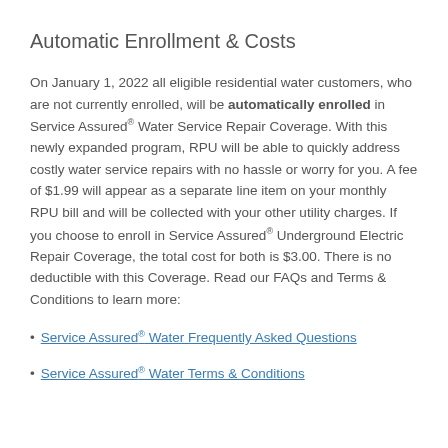Automatic Enrollment & Costs
On January 1, 2022 all eligible residential water customers, who are not currently enrolled, will be automatically enrolled in Service Assured® Water Service Repair Coverage. With this newly expanded program, RPU will be able to quickly address costly water service repairs with no hassle or worry for you. A fee of $1.99 will appear as a separate line item on your monthly RPU bill and will be collected with your other utility charges. If you choose to enroll in Service Assured® Underground Electric Repair Coverage, the total cost for both is $3.00. There is no deductible with this Coverage. Read our FAQs and Terms & Conditions to learn more:
Service Assured® Water Frequently Asked Questions
Service Assured® Water Terms & Conditions